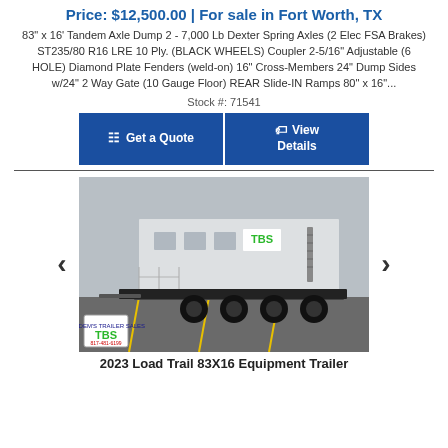Price: $12,500.00 | For sale in Fort Worth, TX
83" x 16' Tandem Axle Dump 2 - 7,000 Lb Dexter Spring Axles (2 Elec FSA Brakes) ST235/80 R16 LRE 10 Ply. (BLACK WHEELS) Coupler 2-5/16" Adjustable (6 HOLE) Diamond Plate Fenders (weld-on) 16" Cross-Members 24" Dump Sides w/24" 2 Way Gate (10 Gauge Floor) REAR Slide-IN Ramps 80" x 16"...
Stock #: 71541
[Figure (other): Two blue buttons: 'Get a Quote' and 'View Details']
[Figure (photo): Photo of a white utility/office trailer on a black tandem axle trailer, parked in a parking lot. TBS logo visible on the trailer and in lower left corner of the photo.]
2023 Load Trail 83X16 Equipment Trailer